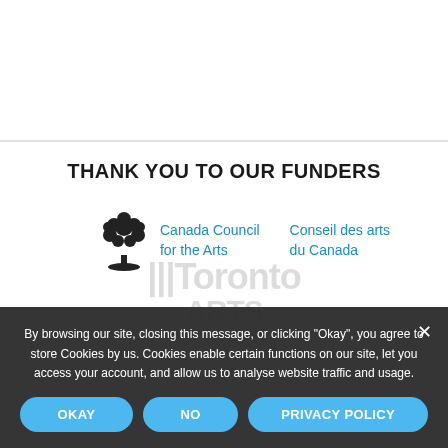THANK YOU TO OUR FUNDERS
[Figure (logo): Canada Council for the Arts / Conseil des arts du Canada bilingual logo with tree illustration]
By browsing our site, closing this message, or clicking "Okay", you agree to store Cookies by us. Cookies enable certain functions on our site, let you access your account, and allow us to analyse website traffic and usage.
OKAY
NO
PRIVACY POLICY